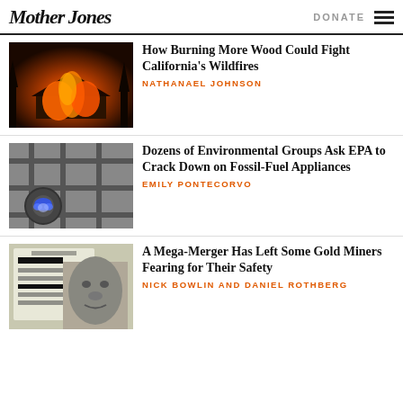Mother Jones | DONATE
[Figure (photo): House engulfed in flames at night with orange fire glow]
How Burning More Wood Could Fight California's Wildfires
NATHANAEL JOHNSON
[Figure (photo): Gas stove burner with blue flame close-up]
Dozens of Environmental Groups Ask EPA to Crack Down on Fossil-Fuel Appliances
EMILY PONTECORVO
[Figure (photo): Composite image of redacted document and man's face]
A Mega-Merger Has Left Some Gold Miners Fearing for Their Safety
NICK BOWLIN AND DANIEL ROTHBERG